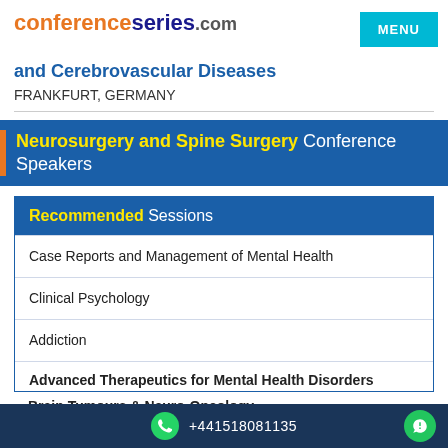conferenceseries.com | MENU
and Cerebrovascular Diseases
FRANKFURT, GERMANY
Neurosurgery and Spine Surgery Conference Speakers
Recommended Sessions
Case Reports and Management of Mental Health
Clinical Psychology
Addiction
Advanced Therapeutics for Mental Health Disorders
Brain Tumours & Neuro-Oncology
+441518081135